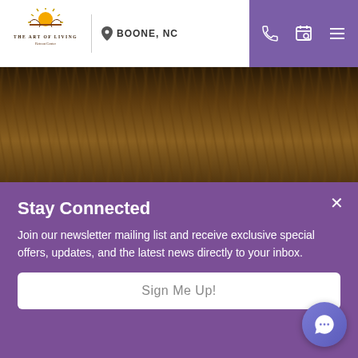THE ART OF LIVING Retreat Center — BOONE, NC
[Figure (photo): Close-up photo of golden grain stalks (wheat or similar) in dark warm tones]
Farro, Mushroom, & Walnut Bowl
Recipes & Food / By Diana Bellofatto
Stay Connected
Join our newsletter mailing list and receive exclusive special offers, updates, and the latest news directly to your inbox.
Sign Me Up!